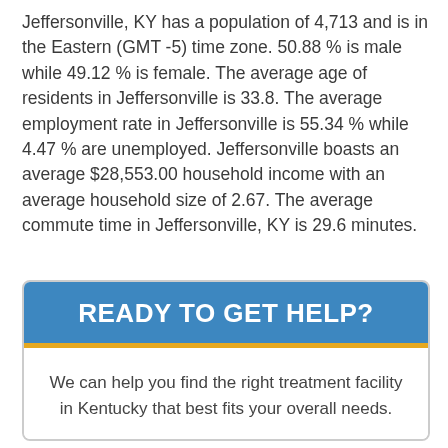Jeffersonville, KY has a population of 4,713 and is in the Eastern (GMT -5) time zone. 50.88 % is male while 49.12 % is female. The average age of residents in Jeffersonville is 33.8. The average employment rate in Jeffersonville is 55.34 % while 4.47 % are unemployed. Jeffersonville boasts an average $28,553.00 household income with an average household size of 2.67. The average commute time in Jeffersonville, KY is 29.6 minutes.
READY TO GET HELP?
We can help you find the right treatment facility in Kentucky that best fits your overall needs.